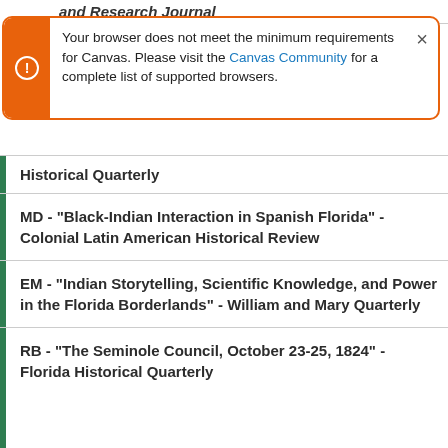and Research Journal
Your browser does not meet the minimum requirements for Canvas. Please visit the Canvas Community for a complete list of supported browsers.
Historical Quarterly
MD - "Black-Indian Interaction in Spanish Florida" - Colonial Latin American Historical Review
EM - "Indian Storytelling, Scientific Knowledge, and Power in the Florida Borderlands" - William and Mary Quarterly
RB - "The Seminole Council, October 23-25, 1824" - Florida Historical Quarterly